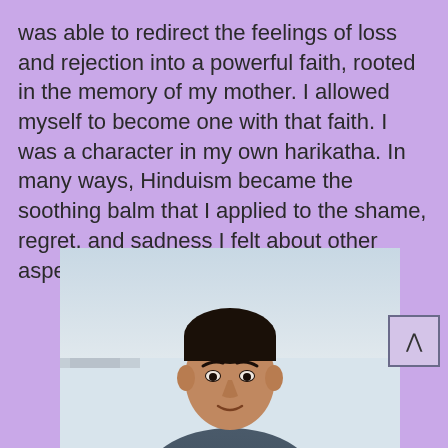was able to redirect the feelings of loss and rejection into a powerful faith, rooted in the memory of my mother. I allowed myself to become one with that faith. I was a character in my own harikatha. In many ways, Hinduism became the soothing balm that I applied to the shame, regret, and sadness I felt about other aspects of my life.
[Figure (photo): Portrait photo of an Indian man with dark hair, shown from the shoulders up against a blurred outdoor background.]